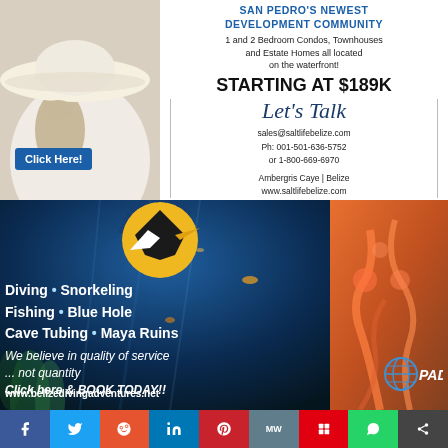[Figure (illustration): Top half: Salt Life Belize real estate advertisement. Left side shows woman in white hat/dress. Right side has text: SAN PEDRO'S NEWEST DEVELOPMENT COMMUNITY, 1 and 2 Bedroom Condos, Townhouses and Estate Homes all located on the waterfront!, STARTING AT $189K, Let's Talk (cursive), sales@saltlifebelize.com, Ph: 001-501-636-5752, or 1-800-669-6970, Ambergris Caye | Belize, www.saltlifebelize.com. Blue 'Click Here!' button.]
[Figure (illustration): Bottom half: Belize Diving Adventures advertisement with underwater coral reef background. Circular logo with pelican/toucan bird. Text: Diving • Snorkeling, Fishing • Blue Hole, Cave Tubing • Maya Ruins, We believe in quality of service ... not quantity, Click here & BOOK TODAY!!, www.belizedivingadventures.net. PADI logo bottom right.]
[Figure (infographic): Social sharing bar at bottom with icons: Facebook (blue), Twitter (light blue), Reddit (orange-red), LinkedIn (blue), Pinterest (red), MW (gray), Mix (red), WhatsApp (green), Share (dark).]